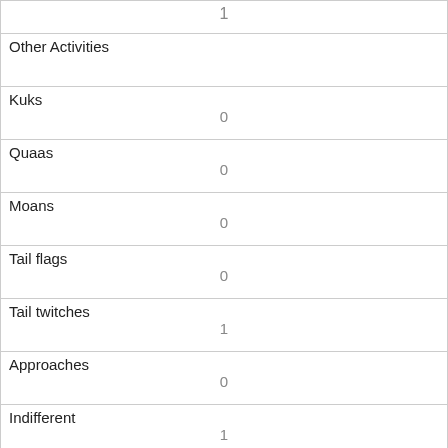| 1 |
| Other Activities |  |
| Kuks | 0 |
| Quaas | 0 |
| Moans | 0 |
| Tail flags | 0 |
| Tail twitches | 1 |
| Approaches | 0 |
| Indifferent | 1 |
| Runs from | 0 |
| Other Interactions |  |